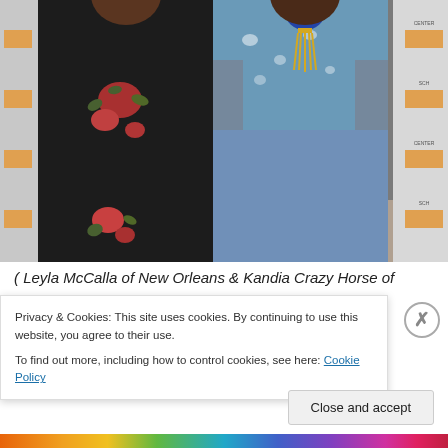[Figure (photo): Two women standing in front of a step-and-repeat backdrop with 'Schomburg Center for Black Culture' branding. The woman on the left wears a black dress with colorful floral embroidery. The woman on the right wears a blue floral top with a yellow tassel necklace and a blue skirt with a grey cardigan.]
( Leyla McCalla of New Orleans & Kandia Crazy Horse of
Privacy & Cookies: This site uses cookies. By continuing to use this website, you agree to their use.
To find out more, including how to control cookies, see here: Cookie Policy
Close and accept